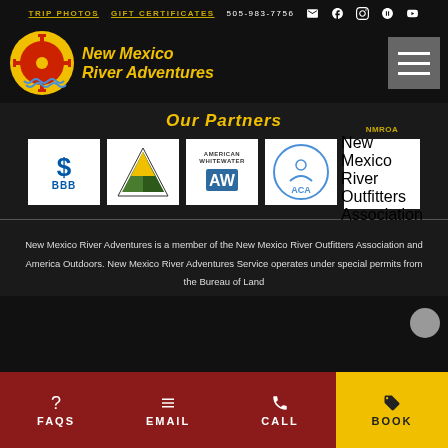TRIP PHOTOS  GIFT CERTIFICATES  505-983-7756
[Figure (logo): New Mexico River Adventures logo with zia sun symbol and yellow italic text]
Our Partners
[Figure (logo): Five partner logos: BBB, America Outdoors, American Whitewater, ACA, NMROA]
New Mexico River Adventures is a member of the New Mexico River Outfitters Association and America Outdoors. New Mexico River Adventures Service operates under special permits from the Bureau of Land
FAQS  EMAIL  CALL  BOOK